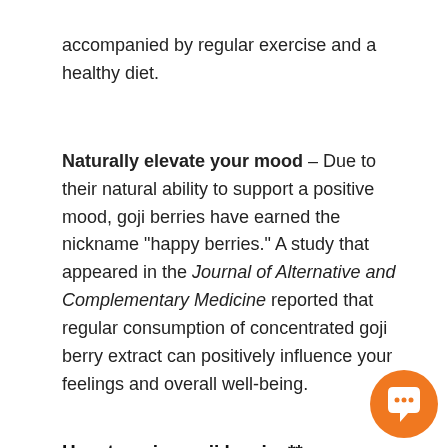accompanied by regular exercise and a healthy diet.
Naturally elevate your mood – Due to their natural ability to support a positive mood, goji berries have earned the nickname "happy berries." A study that appeared in the Journal of Alternative and Complementary Medicine reported that regular consumption of concentrated goji berry extract can positively influence your feelings and overall well-being.
How to enjoy goji berries**
Rich in nutrients, goji berries have a sweet, tangy flavor that makes them a highly versatile ingredient. In China, goji berries are traditionally